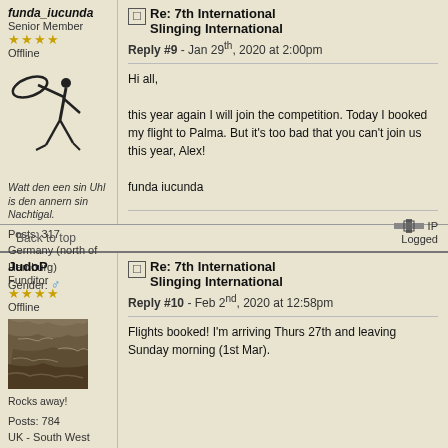funda_iucunda
Senior Member
★★★★
Offline
[Figure (illustration): Black silhouette of a person twirling a lasso/hoop overhead]
Watt den een sin Uhl is den annern sin Nachtigal.
Posts: 317
Germany (north of Hamburg)
Gender: ♂
Re: 7th International Slinging International
Reply #9 - Jan 29th, 2020 at 2:00pm
Hi all,

this year again I will join the competition. Today I booked my flight to Palma. But it's too bad that you can't join us this year, Alex!

funda iucunda
IP
Logged
Back to top
JudoP
Funditor
★★★★
Offline
[Figure (photo): Photo of rocks/stone texture, brownish earthy tones]
Rocks away!
Posts: 784
UK - South West
Re: 7th International Slinging International
Reply #10 - Feb 2nd, 2020 at 12:58pm
Flights booked! I'm arriving Thurs 27th and leaving Sunday morning (1st Mar).